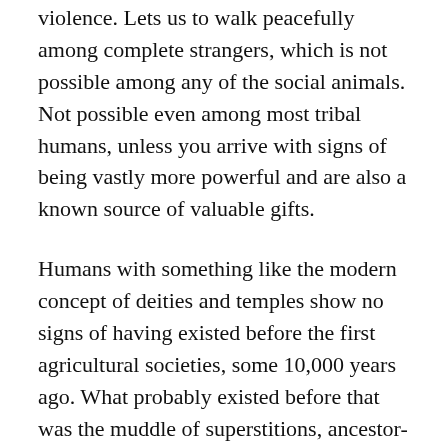violence.  Lets us to walk peacefully among complete strangers, which is not possible among any of the social animals.  Not possible even among most tribal humans, unless you arrive with signs of being vastly more powerful and are also a known source of valuable gifts.
Humans with something like the modern concept of deities and temples show no signs of having existed before the first agricultural societies, some 10,000 years ago.  What probably existed before that was the muddle of superstitions, ancestor-worship and fear of imaginary monsters found in modern tribal societies.  Tribes are normally suspicious of each other, with war being the standard